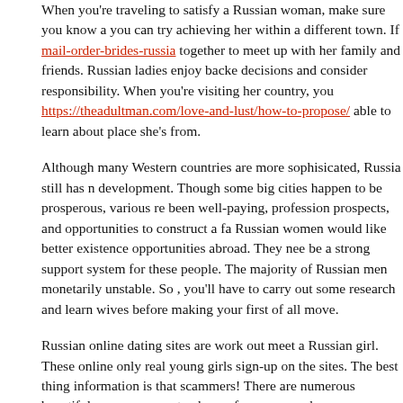When you're traveling to satisfy a Russian woman, make sure you know about you can try achieving her within a different town. If mail-order-brides-russia together to meet up with her family and friends. Russian ladies enjoy backe decisions and consider responsibility. When you're visiting her country, you https://theadultman.com/love-and-lust/how-to-propose/ able to learn about place she's from.
Although many Western countries are more sophisicated, Russia still has n development. Though some big cities happen to be prosperous, various re been well-paying, profession prospects, and opportunities to construct a fa Russian women would like better existence opportunities abroad. They nee be a strong support system for these people. The majority of Russian men monetarily unstable. So , you'll have to carry out some research and learn wives before making your first of all move.
Russian online dating sites are work out meet a Russian girl. These online only real young girls sign-up on the sites. The best thing information is that scammers! There are numerous beautiful young women to choose from an search on your specific requirements. Some sites also offer support and co make the process additional comfortable. Therefore , if you're wondering h the web, get on the web and start hooking up considering the most beautifu
The biggest oversight that many men make when ever trying to find a Rus